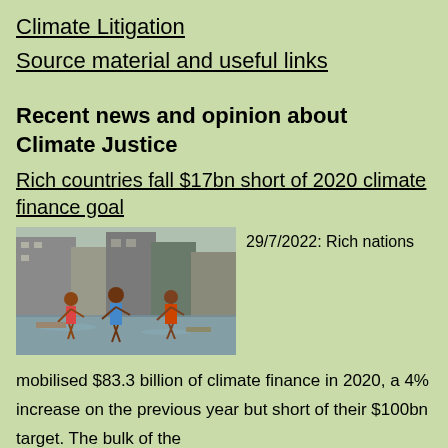Climate Litigation
Source material and useful links
Recent news and opinion about Climate Justice
Rich countries fall $17bn short of 2020 climate finance goal
[Figure (photo): People wading through flood water in an urban area, carrying items, with damaged buildings in background]
29/7/2022: Rich nations
mobilised $83.3 billion of climate finance in 2020, a 4% increase on the previous year but short of their $100bn target. The bulk of the